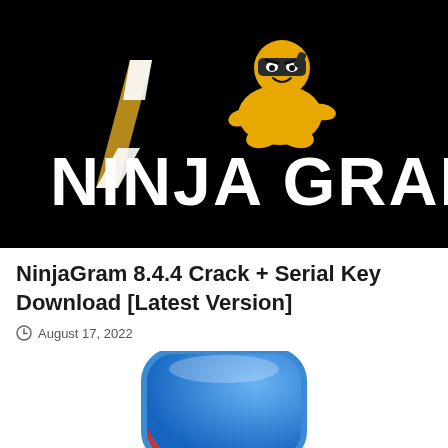[Figure (logo): NinjaGram logo on black background — golden ninja character crouching above bold white text 'NINJA GRAM' with a stylized lightning bolt N]
NinjaGram 8.4.4 Crack + Serial Key Download [Latest Version]
August 17, 2022
[Figure (screenshot): Partially visible rounded square app icon with blue and red gradient segments]